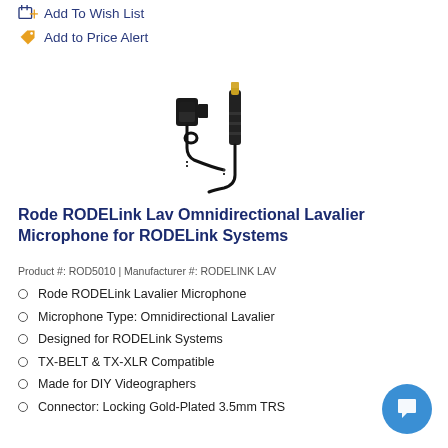Add To Wish List
Add to Price Alert
[Figure (photo): Product photo of the Rode RODELink Lav lavalier microphone capsule with cable and 3.5mm TRS gold-plated connector]
Rode RODELink Lav Omnidirectional Lavalier Microphone for RODELink Systems
Product #: ROD5010 | Manufacturer #: RODELINK LAV
Rode RODELink Lavalier Microphone
Microphone Type: Omnidirectional Lavalier
Designed for RODELink Systems
TX-BELT & TX-XLR Compatible
Made for DIY Videographers
Connector: Locking Gold-Plated 3.5mm TRS